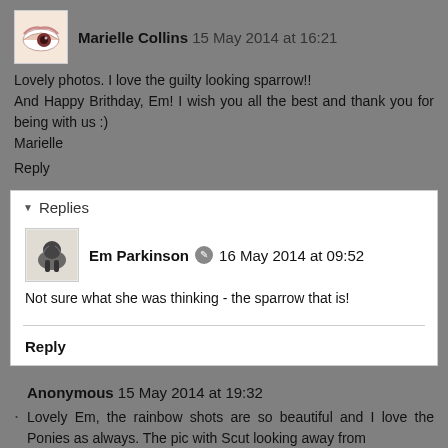Marielle Collins 15 May 2014 at 16:21
Lovely photos. I love the guilty looking sparrow!! And Happy Brithday, Em! I wish you all the best and thank you for being with us :)
Marielle
Reply
Replies
Em Parkinson 16 May 2014 at 09:52
Not sure what she was thinking - the sparrow that is!
Reply
Anonymous 15 May 2014 at 19:32
Lovely Em, the rainbow shots are so beautiful and I love the Ponies as always. The pic with Scut looking away from